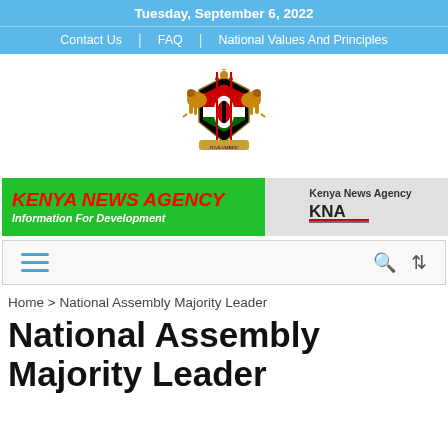Tuesday, September 6, 2022
Contact Us | FAQ | National Values And Principles
[Figure (logo): Kenya Government Coat of Arms logo]
[Figure (logo): Kenya News Agency banner with KNA logo — 'KENYA NEWS AGENCY / Information For Development']
Home > National Assembly Majority Leader
National Assembly Majority Leader